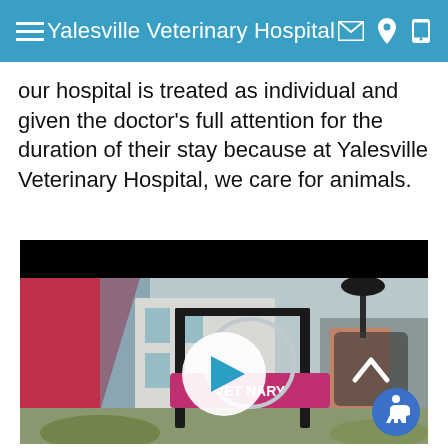Yalesville Veterinary Hospital
our hospital is treated as individual and given the doctor's full attention for the duration of their stay because at Yalesville Veterinary Hospital, we care for animals.
[Figure (screenshot): Video player showing exterior photo of Yalesville Veterinary Hospital sign with play button overlay, caret up arrow button, and accessibility icon in bottom right corner]